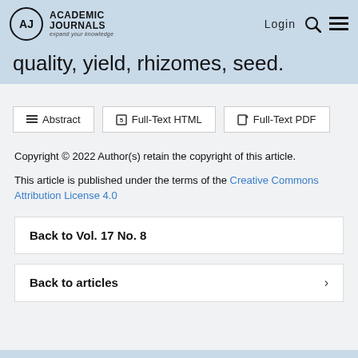Academic Journals — Login
quality, yield, rhizomes, seed.
Abstract | Full-Text HTML | Full-Text PDF
Copyright © 2022 Author(s) retain the copyright of this article.
This article is published under the terms of the Creative Commons Attribution License 4.0
Back to Vol. 17 No. 8
Back to articles